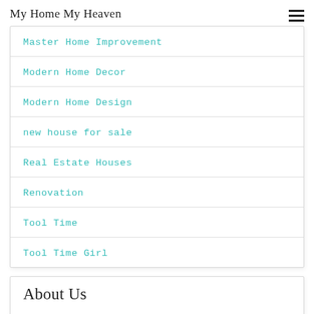My Home My Heaven
Master Home Improvement
Modern Home Decor
Modern Home Design
new house for sale
Real Estate Houses
Renovation
Tool Time
Tool Time Girl
About Us